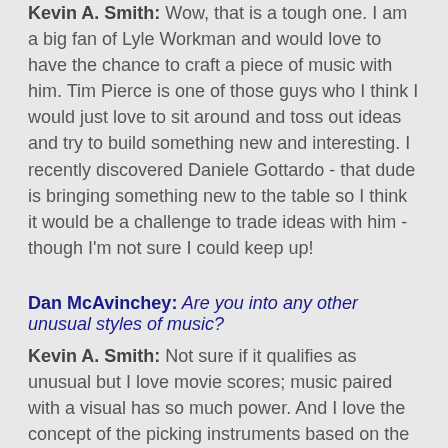Kevin A. Smith: Wow, that is a tough one. I am a big fan of Lyle Workman and would love to have the chance to craft a piece of music with him. Tim Pierce is one of those guys who I think I would just love to sit around and toss out ideas and try to build something new and interesting. I recently discovered Daniele Gottardo - that dude is bringing something new to the table so I think it would be a challenge to trade ideas with him - though I'm not sure I could keep up!
Dan McAvinchey: Are you into any other unusual styles of music?
Kevin A. Smith: Not sure if it qualifies as unusual but I love movie scores; music paired with a visual has so much power. And I love the concept of the picking instruments based on the emotion they